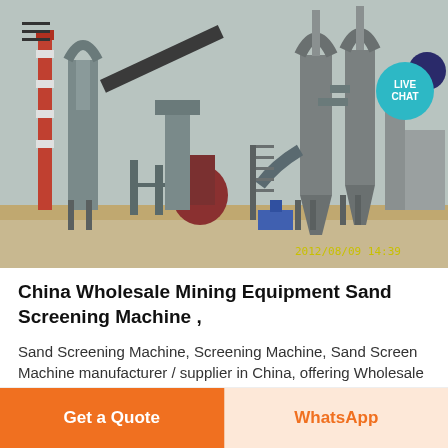[Figure (photo): Industrial mining/processing plant with large cylindrical towers, pipes, conveyor belts, and industrial equipment photographed outdoors. Timestamp '2012/08/09 14:39' visible in bottom right of photo.]
China Wholesale Mining Equipment Sand Screening Machine ,
Sand Screening Machine, Screening Machine, Sand Screen Machine manufacturer / supplier in China, offering Wholesale Mining Equipment
Get a Quote
WhatsApp